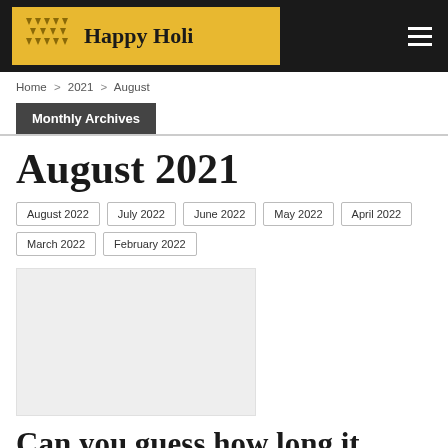Happy Holi
Home > 2021 > August
Monthly Archives
August 2021
August 2022
July 2022
June 2022
May 2022
April 2022
March 2022
February 2022
[Figure (photo): Light grey placeholder image for an article thumbnail]
Can you guess how long it takes